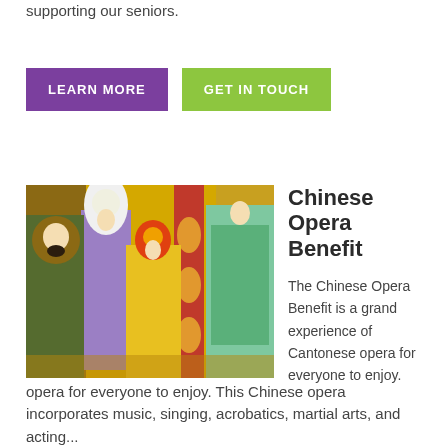supporting our seniors.
LEARN MORE
GET IN TOUCH
[Figure (photo): Chinese Opera performers on stage in elaborate traditional Cantonese opera costumes and headdresses, colorful backdrop with yellow curtains and red column]
Chinese Opera Benefit
The Chinese Opera Benefit is a grand experience of Cantonese opera for everyone to enjoy.
opera for everyone to enjoy. This Chinese opera incorporates music, singing, acrobatics, martial arts, and acting...